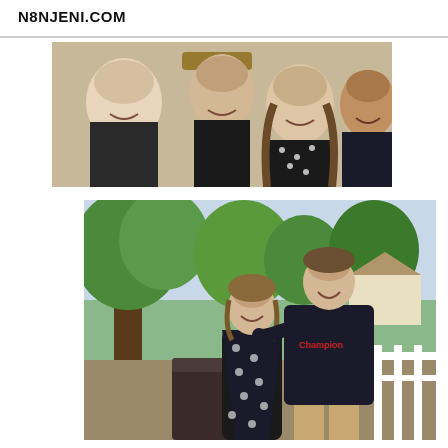N8NJENI.COM
[Figure (photo): Close-up selfie of four people smiling: a young person with light hair on the left, another person with a hat in the back, a woman with long hair wearing a black and white polka dot top in the center, and a person with darker complexion on the right.]
[Figure (photo): Two people posing outdoors on a deck or porch. A woman in a black and white polka dot wrap dress stands on the left, and a tall young man wearing a black Champion t-shirt and tan shorts stands on the right with his arm around her. Green trees and a house are visible in the background.]